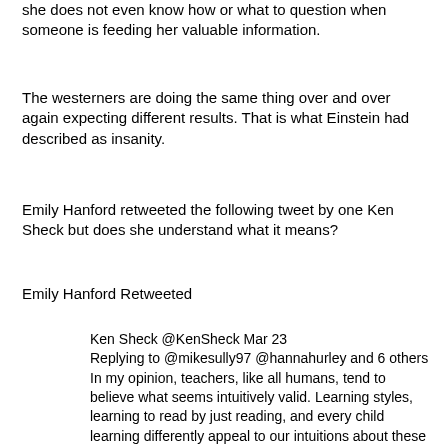she does not even know how or what to question when someone is feeding her valuable information.
The westerners are doing the same thing over and over again expecting different results. That is what Einstein had described as insanity.
Emily Hanford retweeted the following tweet by one Ken Sheck but does she understand what it means?
Emily Hanford Retweeted
Ken Sheck @KenSheck Mar 23
Replying to @mikesully97 @hannahurley and 6 others
In my opinion, teachers, like all humans, tend to believe what seems intuitively valid. Learning styles, learning to read by just reading, and every child learning differently appeal to our intuitions about these things.